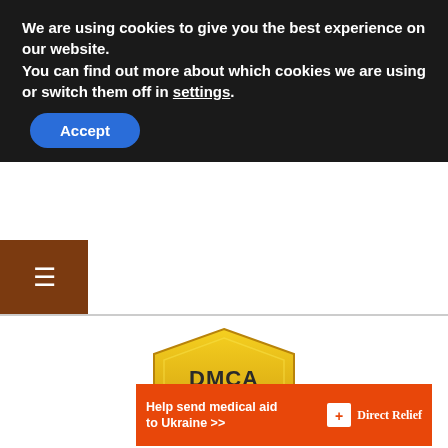We are using cookies to give you the best experience on our website.
You can find out more about which cookies we are using or switch them off in settings.
Accept
[Figure (logo): DMCA Protected badge - gold shield with DMCA.com text and green PROTECTED ribbon]
DMCA Protected & Monitored
[Figure (infographic): Orange advertisement banner: Help send medical aid to Ukraine >> with Direct Relief logo]